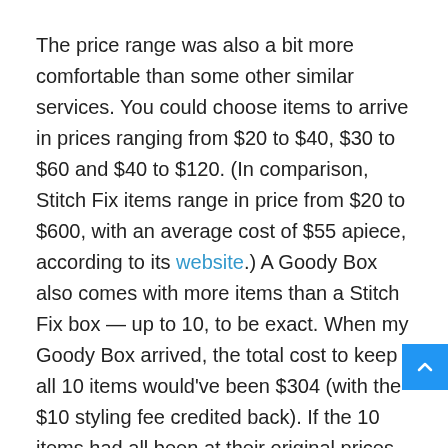The price range was also a bit more comfortable than some other similar services. You could choose items to arrive in prices ranging from $20 to $40, $30 to $60 and $40 to $120. (In comparison, Stitch Fix items range in price from $20 to $600, with an average cost of $55 apiece, according to its website.) A Goody Box also comes with more items than a Stitch Fix box — up to 10, to be exact. When my Goody Box arrived, the total cost to keep all 10 items would've been $304 (with the $10 styling fee credited back). If the 10 items had all been at their original prices, the total would have been $1,155, according to the ThredUp receipt. Given some of the brand names included in the box, like Ann Taylor, I thought paying under $300 for 10 items wasn't a bad deal.
ThredUp gives you seven days to try on the items in your b before you mail back what you don't want. They also give you the option to provide a wide range of feedback in the